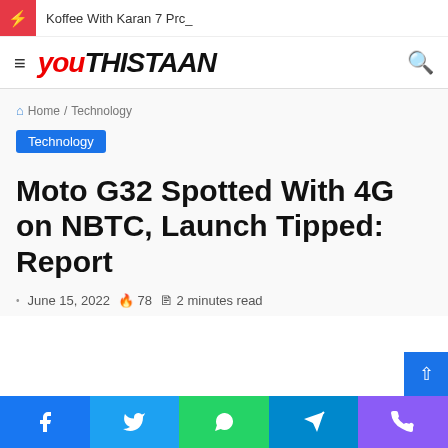⚡ Koffee With Karan 7 Prc_
[Figure (logo): Youthistaan logo with hamburger menu and search icon]
Home / Technology
Technology
Moto G32 Spotted With 4G on NBTC, Launch Tipped: Report
June 15, 2022  🔥 78  📖 2 minutes read